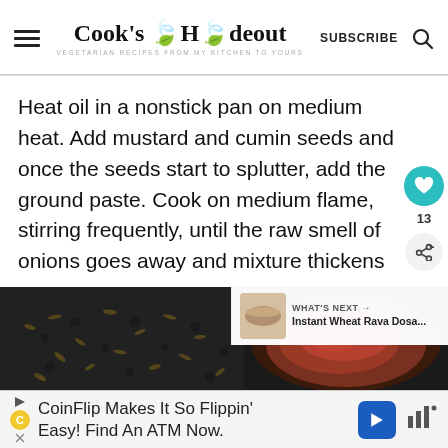Cook's Hideout — VEGETARIAN RECIPES FROM MY KITCHEN TO YOURS
Heat oil in a nonstick pan on medium heat. Add mustard and cumin seeds and once the seeds start to splutter, add the ground paste. Cook on medium flame, stirring frequently, until the raw smell of onions goes away and mixture thickens
[Figure (photo): Two side-by-side food photos: left shows black mustard seeds and cumin seeds on dark surface, right shows cooked red/brown onion mixture in a dark pan]
WHAT'S NEXT → Instant Wheat Rava Dosa...
CoinFlip Makes It So Flippin' Easy! Find An ATM Now.